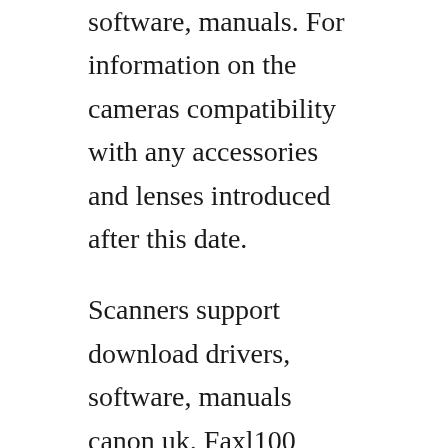software, manuals. For information on the cameras compatibility with any accessories and lenses introduced after this date.
Scanners support download drivers, software, manuals canon uk. Faxl100 support download drivers, software and manuals. Fax l120 l100 basic guide pdf this document includes the following contents. Canon faxl100 best price in canada buy with shopbot. This manual is included on the user software cdrom.
No, the user manual and user guide are not the same. Istruzioni per luso canon faxl100